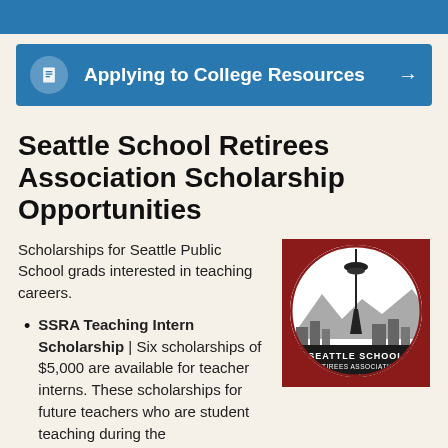[Figure (screenshot): Blue navigation banner at top of page (partial)]
[Figure (screenshot): Blue navigation bar with document icon and text 'Applying to College Resources' with right arrow]
Seattle School Retirees Association Scholarship Opportunities
Scholarships for Seattle Public School grads interested in teaching careers.
[Figure (logo): Seattle School Retirees Association circular logo on red square background, featuring Space Needle and city skyline, with text 'Seattle School Retirees Association Since 1944']
SSRA Teaching Intern Scholarship | Six scholarships of $5,000 are available for teacher interns. These scholarships for future teachers who are student teaching during the